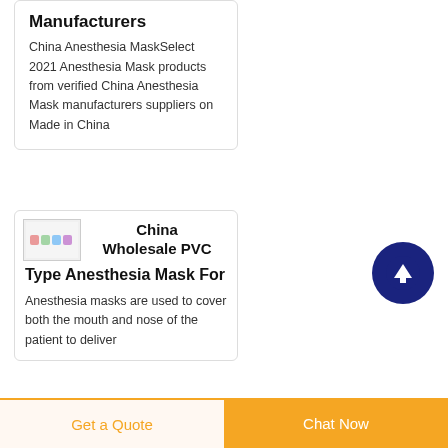Anesthesia Mask Manufacturers
China Anesthesia MaskSelect 2021 Anesthesia Mask products from verified China Anesthesia Mask manufacturers suppliers on Made in China
China Wholesale PVC Type Anesthesia Mask For
Anesthesia masks are used to cover both the mouth and nose of the patient to deliver
[Figure (illustration): Small thumbnail image showing anesthesia masks in a row]
[Figure (illustration): Dark navy blue circular button with white upward arrow icon]
Get a Quote
Chat Now